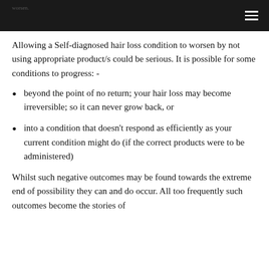worsen.
Allowing a Self-diagnosed hair loss condition to worsen by not using appropriate product/s could be serious. It is possible for some conditions to progress: -
beyond the point of no return; your hair loss may become irreversible; so it can never grow back, or
into a condition that doesn't respond as efficiently as your current condition might do (if the correct products were to be administered)
Whilst such negative outcomes may be found towards the extreme end of possibility they can and do occur. All too frequently such outcomes become the stories of